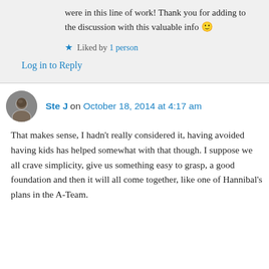were in this line of work! Thank you for adding to the discussion with this valuable info 🙂
★ Liked by 1 person
Log in to Reply
Ste J on October 18, 2014 at 4:17 am
That makes sense, I hadn't really considered it, having avoided having kids has helped somewhat with that though. I suppose we all crave simplicity, give us something easy to grasp, a good foundation and then it will all come together, like one of Hannibal's plans in the A-Team.